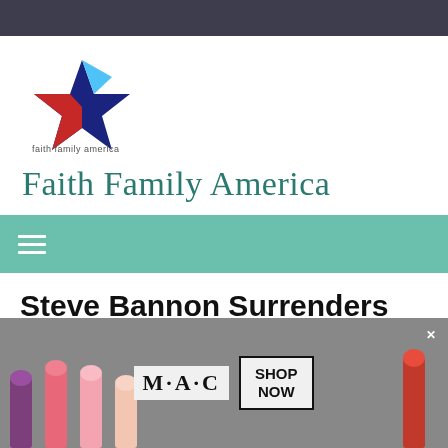[Figure (logo): Faith Family America star logo with blue, red and light blue colors, and small text 'faith family america' below]
Faith Family America
[Figure (other): Teal/green navigation bar with hamburger menu icon (three white horizontal lines)]
Steve Bannon Surrenders to FBI, But Maintains He's
[Figure (other): MAC cosmetics advertisement banner with lipsticks on left and right, M·A·C logo and SHOP NOW button in center, infolinks badge overlay]